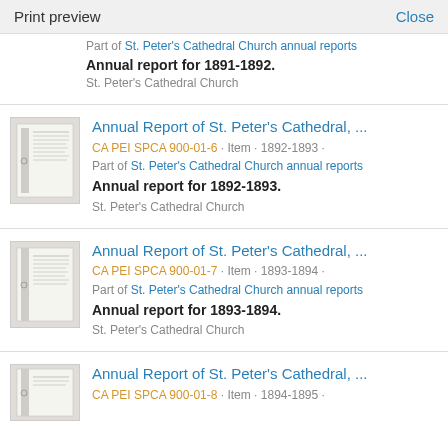Print preview   Close
Part of St. Peter's Cathedral Church annual reports
Annual report for 1891-1892.
St. Peter's Cathedral Church
Annual Report of St. Peter's Cathedral, ...
CA PEI SPCA 900-01-6 · Item · 1892-1893 ·
Part of St. Peter's Cathedral Church annual reports
Annual report for 1892-1893.
St. Peter's Cathedral Church
Annual Report of St. Peter's Cathedral, ...
CA PEI SPCA 900-01-7 · Item · 1893-1894 ·
Part of St. Peter's Cathedral Church annual reports
Annual report for 1893-1894.
St. Peter's Cathedral Church
Annual Report of St. Peter's Cathedral, ...
CA PEI SPCA 900-01-8 · Item · 1894-1895 ·